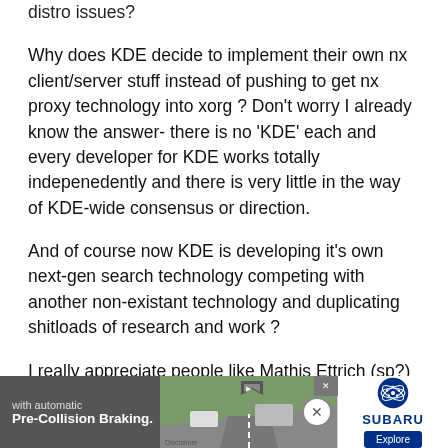distro issues?
Why does KDE decide to implement their own nx client/server stuff instead of pushing to get nx proxy technology into xorg ? Don't worry I already know the answer- there is no 'KDE' each and every developer for KDE works totally indepenedently and there is very little in the way of KDE-wide consensus or direction.
And of course now KDE is developing it's own next-gen search technology competing with another non-existant technology and duplicating shitloads of research and work ?
I really appreciate people like Mathis Ettrich (sp?) and the few cool-headed KDE guys particpating at freedesktop.org. I also appreciate the quality of work the guys at
[Figure (screenshot): Advertisement banner for Subaru featuring 'with automatic Pre-Collision Braking.' text over a road scene with cars, Subaru logo, and Explore button]